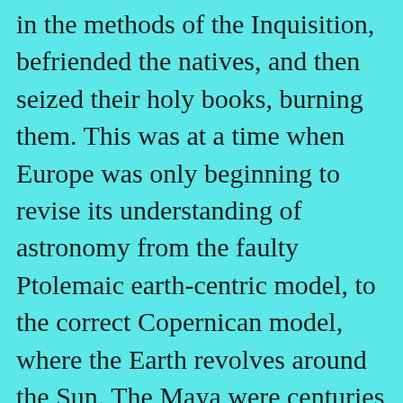in the methods of the Inquisition, befriended the natives, and then seized their holy books, burning them. This was at a time when Europe was only beginning to revise its understanding of astronomy from the faulty Ptolemaic earth-centric model, to the correct Copernican model, where the Earth revolves around the Sun. The Maya were centuries ahead of the Europeans in correct astronomical modeling of the solar system, and significantly more precise, without having optical telescopes! Who knows what wisdom was reduced to